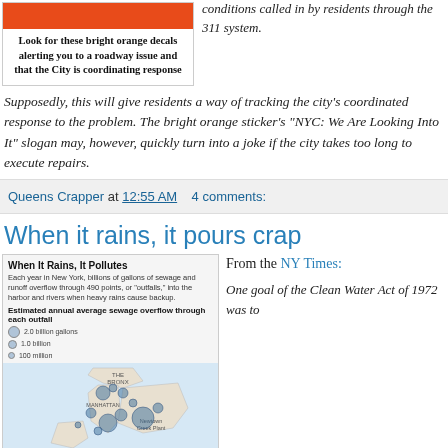[Figure (photo): Bright orange decal/sticker image at top left]
Look for these bright orange decals alerting you to a roadway issue and that the City is coordinating response
conditions called in by residents through the 311 system.
Supposedly, this will give residents a way of tracking the city's coordinated response to the problem. The bright orange sticker's "NYC: We Are Looking Into It" slogan may, however, quickly turn into a joke if the city takes too long to execute repairs.
Queens Crapper at 12:55 AM   4 comments:
When it rains, it pours crap
[Figure (map): Map of New York City showing sewage overflow points (outfalls) as circles of varying sizes in the harbor and rivers, with labels for The Bronx, Manhattan, and Newtown Creek Plant. Title: When It Rains, It Pollutes. Legend shows estimated annual average sewage overflow: 2.0 billion gallons, 1.0 billion, 100 million.]
From the NY Times:
One goal of the Clean Water Act of 1972 was to